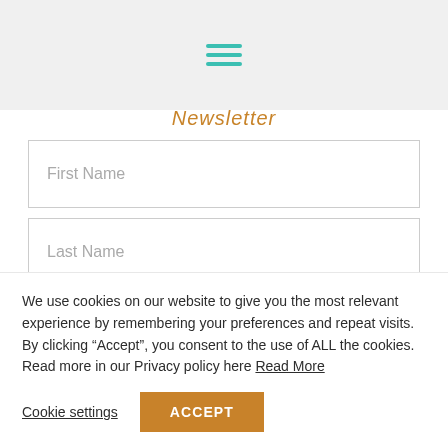[Figure (other): Hamburger menu icon with three teal horizontal lines on a light gray background header bar]
Newsletter
First Name
Last Name
Your Email
We use cookies on our website to give you the most relevant experience by remembering your preferences and repeat visits. By clicking “Accept”, you consent to the use of ALL the cookies. Read more in our Privacy policy here Read More
Cookie settings
ACCEPT